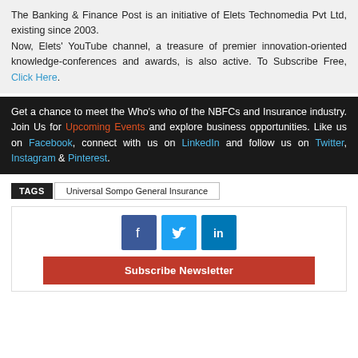The Banking & Finance Post is an initiative of Elets Technomedia Pvt Ltd, existing since 2003. Now, Elets' YouTube channel, a treasure of premier innovation-oriented knowledge-conferences and awards, is also active. To Subscribe Free, Click Here.
Get a chance to meet the Who's who of the NBFCs and Insurance industry. Join Us for Upcoming Events and explore business opportunities. Like us on Facebook, connect with us on LinkedIn and follow us on Twitter, Instagram & Pinterest.
TAGS  Universal Sompo General Insurance
[Figure (infographic): Social share buttons: Facebook (f icon), Twitter (bird icon), LinkedIn (in icon), and a Subscribe Newsletter red button below]
Subscribe Newsletter